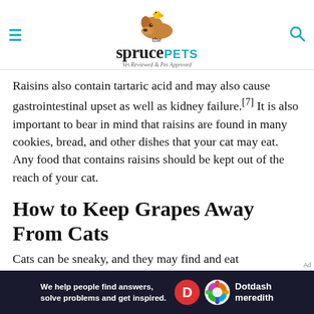the spruce PETS — Vet Reviewed & Pet Approved
Raisins also contain tartaric acid and may also cause gastrointestinal upset as well as kidney failure.[7] It is also important to bear in mind that raisins are found in many cookies, bread, and other dishes that your cat may eat. Any food that contains raisins should be kept out of the reach of your cat.
How to Keep Grapes Away From Cats
Cats can be sneaky, and they may find and eat
[Figure (logo): Dotdash Meredith advertisement banner — dark navy background with text 'We help people find answers, solve problems and get inspired.' and Dotdash Meredith logo]